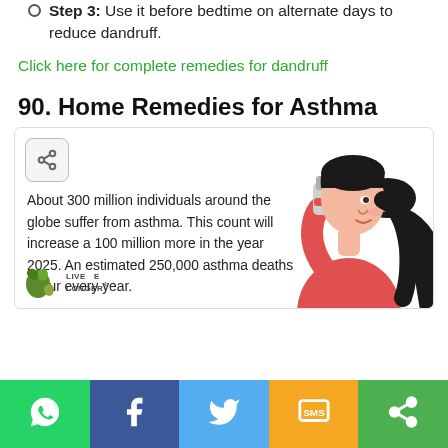Step 3: Use it before bedtime on alternate days to reduce dandruff.
Click here for complete remedies for dandruff
90. Home Remedies for Asthma
[Figure (illustration): Illustration of a woman with black hair in a ponytail using an asthma inhaler, wearing a red shirt. Includes a share button icon in the top-left and a 'Live Longer' logo in the bottom-left of the info box.]
About 300 million individuals around the globe suffer from asthma. This count will increase a 100 million more in the year 2025. An estimated 250,000 asthma deaths occur every year.
[Figure (infographic): Social sharing bar with WhatsApp, Facebook, Twitter, SMS, and Share buttons in green, blue, light blue, yellow, and green colors respectively.]